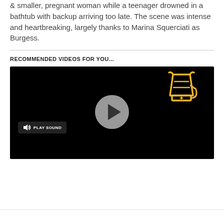& smaller, pregnant woman while a teenager drowned in a bathtub with backup arriving too late. The scene was intense and heartbreaking, largely thanks to Marina Squerciati as Burgess.
RECOMMENDED VIDEOS FOR YOU...
[Figure (screenshot): Video player with black background, a circular play button in the center, a yellow blender icon in the top-right, and a 'Play Sound' button with speaker icon on the left.]